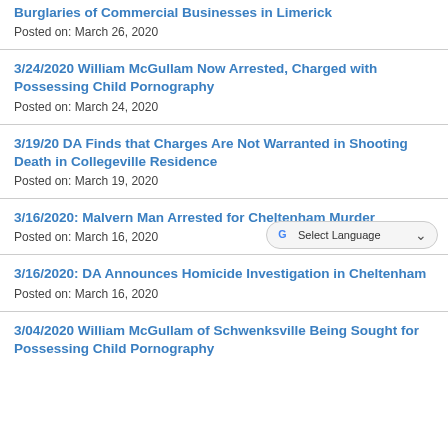Burglaries of Commercial Businesses in Limerick
Posted on: March 26, 2020
3/24/2020 William McGullam Now Arrested, Charged with Possessing Child Pornography
Posted on: March 24, 2020
3/19/20 DA Finds that Charges Are Not Warranted in Shooting Death in Collegeville Residence
Posted on: March 19, 2020
3/16/2020: Malvern Man Arrested for Cheltenham Murder
Posted on: March 16, 2020
3/16/2020: DA Announces Homicide Investigation in Cheltenham
Posted on: March 16, 2020
3/04/2020 William McGullam of Schwenksville Being Sought for Possessing Child Pornography